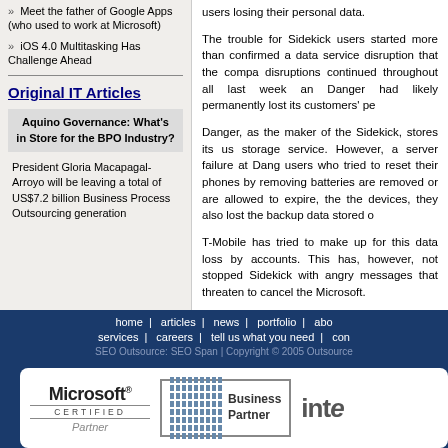» Meet the father of Google Apps (who used to work at Microsoft)
» iOS 4.0 Multitasking Has Challenge Ahead
Original IT Articles
Aquino Governance: What's in Store for the BPO Industry?
President Gloria Macapagal-Arroyo will be leaving a total of US$7.2 billion Business Process Outsourcing generation
users losing their personal data.

The trouble for Sidekick users started more than confirmed a data service disruption that the company disruptions continued throughout all last week and Danger had likely permanently lost its customers' pe

Danger, as the maker of the Sidekick, stores its users storage service. However, a server failure at Danger users who tried to reset their phones by removing batteries are removed or are allowed to expire, the the devices, they also lost the backup data stored on

T-Mobile has tried to make up for this data loss by accounts. This has, however, not stopped Sidekick with angry messages that threaten to cancel their Microsoft.
home | articles | news | portfolio | about services | careers | tell us what you need | contact
SEO Outsource: SEO Span | Copyright © 2005 Outsource
[Figure (logo): Microsoft Certified Partner logo, IBM Business Partner logo, Intel logo]